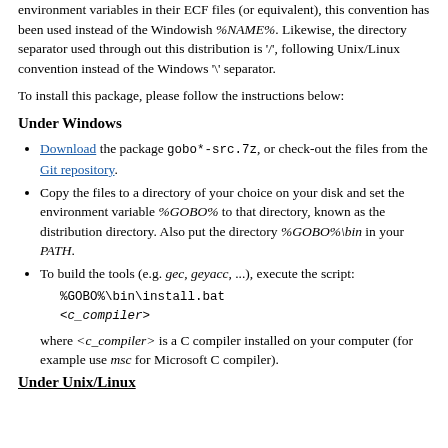environment variables in their ECF files (or equivalent), this convention has been used instead of the Windowish %NAME%. Likewise, the directory separator used through out this distribution is '/', following Unix/Linux convention instead of the Windows '\' separator.
To install this package, please follow the instructions below:
Under Windows
Download the package gobo*-src.7z, or check-out the files from the Git repository.
Copy the files to a directory of your choice on your disk and set the environment variable %GOBO% to that directory, known as the distribution directory. Also put the directory %GOBO%\bin in your PATH.
To build the tools (e.g. gec, geyacc, ...), execute the script:
%GOBO%\bin\install.bat
<c_compiler>
where <c_compiler> is a C compiler installed on your computer (for example use msc for Microsoft C compiler).
Under Unix/Linux